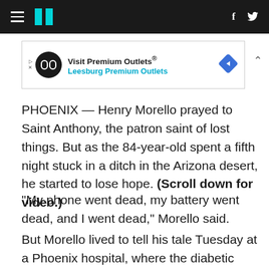HuffPost navigation header with hamburger menu, logo, Facebook and Twitter icons
[Figure (other): Advertisement banner: Visit Premium Outlets® Leesburg Premium Outlets]
PHOENIX — Henry Morello prayed to Saint Anthony, the patron saint of lost things. But as the 84-year-old spent a fifth night stuck in a ditch in the Arizona desert, he started to lose hope. (Scroll down for video.)
"My phone went dead, my battery went dead, and I went dead," Morello said.
But Morello lived to tell his tale Tuesday at a Phoenix hospital, where the diabetic man was admitted in good condition despite drinking